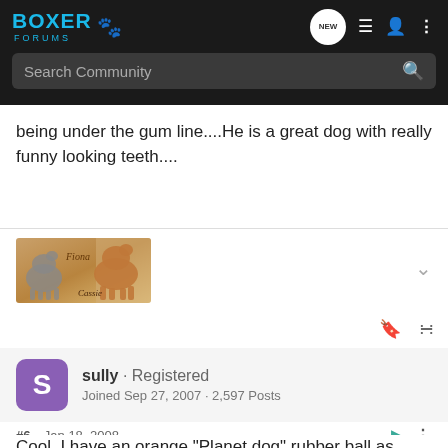Boxer Forums
being under the gum line....He is a great dog with really funny looking teeth....
[Figure (photo): User avatar banner with boxer dogs and text 'Fiona' and 'Cassie']
sully · Registered
Joined Sep 27, 2007 · 2,597 Posts
#6 · Jan 18, 2008
Cool, I have an orange "Planet dog" rubber ball as well.  Oggie